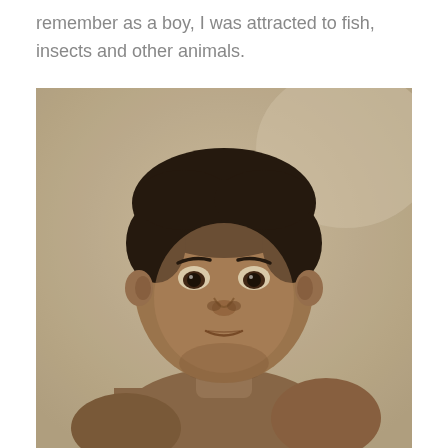remember as a boy, I was attracted to fish, insects and other animals.
[Figure (photo): Black and white vintage photograph of a young boy, approximately toddler age, shirtless, wearing a thin necklace, looking upward with a serious expression. The photo has a sepia/aged appearance.]